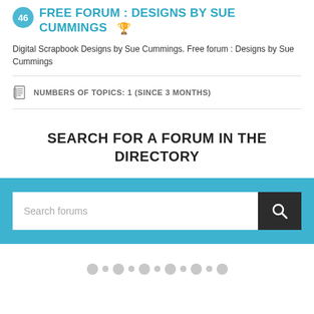46 FREE FORUM : DESIGNS BY SUE CUMMINGS 🏆
Digital Scrapbook Designs by Sue Cummings. Free forum : Designs by Sue Cummings
NUMBERS OF TOPICS: 1 (SINCE 3 MONTHS)
SEARCH FOR A FORUM IN THE DIRECTORY
[Figure (screenshot): Search bar with placeholder text 'Search forums' and a dark search button with magnifying glass icon]
[Figure (other): Pagination dots: alternating large and small grey circles in a row]